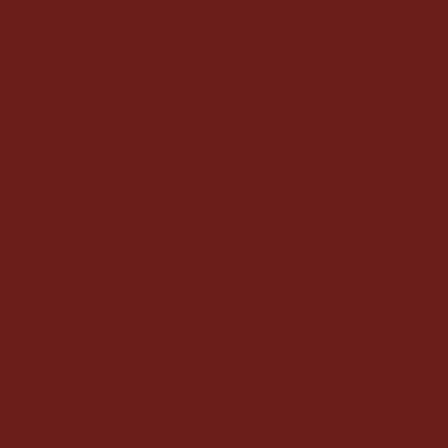November 21, 1978.
United States of America vs. Lou... California, No. 78-4362-F, Repor... 25, 1979.
United States of America vs. Lou... California, No. 78-4362-F, Repor... Prejudice and Order Thereon, Lo...
United States v. Nye County, Ne... District of Nevada, Las Vegas, N...
United States v. Sandoval, Unite... Available at http://caselaw.findla...
United States v. Semenza, Unite... CCL, September 19, 1986.
United States v. Shumway, No. 9... Circuit, May 6, 1997, available a... http://caselaw.findlaw.com .
United Stares v. Smull, U.S. Sup...